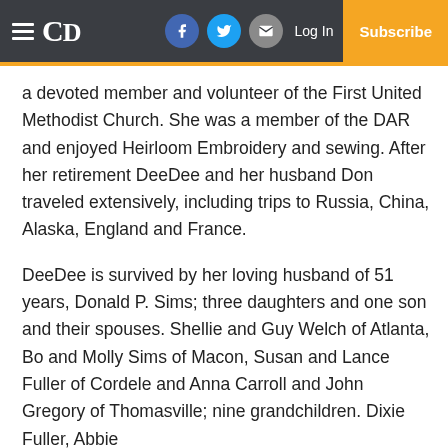CD | Log In | Subscribe
a devoted member and volunteer of the First United Methodist Church. She was a member of the DAR and enjoyed Heirloom Embroidery and sewing. After her retirement DeeDee and her husband Don traveled extensively, including trips to Russia, China, Alaska, England and France.
DeeDee is survived by her loving husband of 51 years, Donald P. Sims; three daughters and one son and their spouses. Shellie and Guy Welch of Atlanta, Bo and Molly Sims of Macon, Susan and Lance Fuller of Cordele and Anna Carroll and John Gregory of Thomasville; nine grandchildren. Dixie Fuller, Abbie